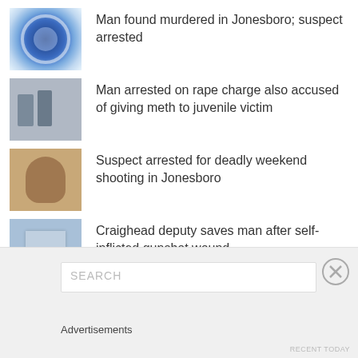Man found murdered in Jonesboro; suspect arrested
Man arrested on rape charge also accused of giving meth to juvenile victim
Suspect arrested for deadly weekend shooting in Jonesboro
Craighead deputy saves man after self-inflicted gunshot wound
Man arrested in March 23 Chestnut Street shooting
[Figure (screenshot): Search bar area with Advertisements label and close button]
Advertisements